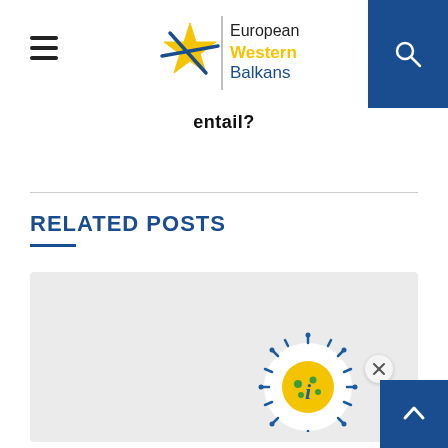European Western Balkans
entail?
RELATED POSTS
[Figure (screenshot): Gray placeholder card area for related posts content, with an info/coronavirus icon widget (circle with 'i' info icon styled as a virus/coronavirus graphic) and a close X button, plus a blue scroll-to-top arrow button in bottom right.]